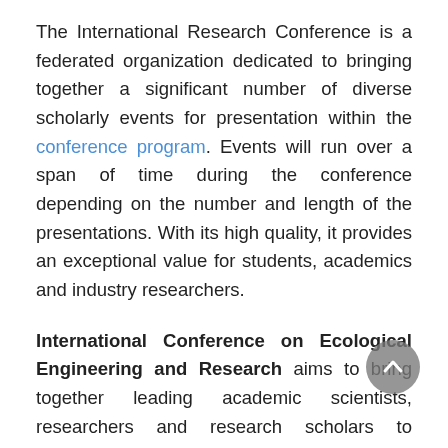The International Research Conference is a federated organization dedicated to bringing together a significant number of diverse scholarly events for presentation within the conference program. Events will run over a span of time during the conference depending on the number and length of the presentations. With its high quality, it provides an exceptional value for students, academics and industry researchers.
International Conference on Ecological Engineering and Research aims to bring together leading academic scientists, researchers and research scholars to exchange and share their experiences and research results on all aspects of Ecological Engineering and Research. It also provides a premier interdisciplinary platform for researchers, practitioners and educators to present and discuss the most recent innovations,